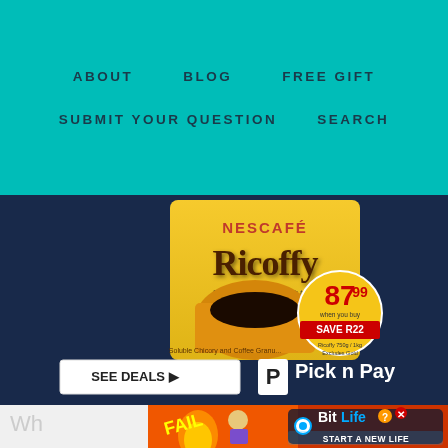ABOUT   BLOG   FREE GIFT   SUBMIT YOUR QUESTION   SEARCH
[Figure (photo): Nescafe Ricoffy advertisement banner showing a yellow Ricoffy coffee package with a cup of coffee, price tag 87.99, SAVE R22, with SEE DEALS button and Pick n Pay logo at bottom]
[Figure (photo): BitLife game advertisement with fire, woman, FAIL text, and START A NEW LIFE text with BitLife logo]